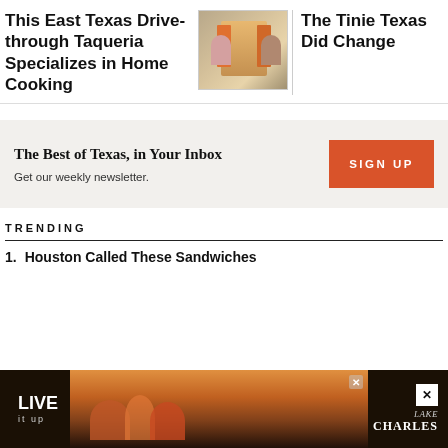This East Texas Drive-through Taqueria Specializes in Home Cooking
[Figure (photo): Two people standing in front of a taqueria storefront wearing aprons]
The Tinie Texas Did Change
The Best of Texas, in Your Inbox
Get our weekly newsletter.
SIGN UP
TRENDING
1. Houston Called These Sandwiches
[Figure (photo): Advertisement banner: LIVE it up — Lake Charles promotional ad with people at waterfront]